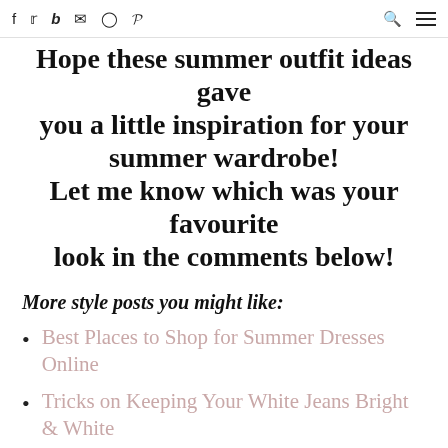f  Twitter  b  Mail  Instagram  Pinterest  Search  Menu
Hope these summer outfit ideas gave you a little inspiration for your summer wardrobe! Let me know which was your favourite look in the comments below!
More style posts you might like:
Best Places to Shop for Summer Dresses Online
Tricks on Keeping Your White Jeans Bright & White